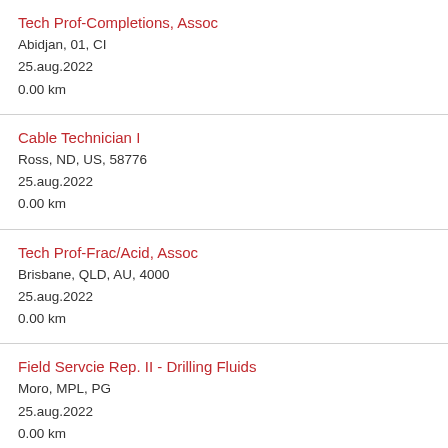Tech Prof-Completions, Assoc
Abidjan, 01, CI
25.aug.2022
0.00 km
Cable Technician I
Ross, ND, US, 58776
25.aug.2022
0.00 km
Tech Prof-Frac/Acid, Assoc
Brisbane, QLD, AU, 4000
25.aug.2022
0.00 km
Field Servcie Rep. II - Drilling Fluids
Moro, MPL, PG
25.aug.2022
0.00 km